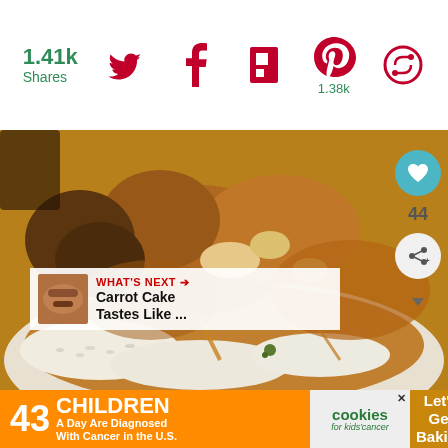1.41k Shares
[Figure (photo): Close-up photo of braised/stewed chicken pieces with brown gravy served over white rice on a white plate]
WHAT'S NEXT → Carrot Cake Tastes Like ...
44
[Figure (infographic): Advertisement banner: orange background with '43 CHILDREN A Day Are Diagnosed With Cancer in the U.S.' text, cookies for kids cancer logo, and 'Let's Get Baking' text on brown background]